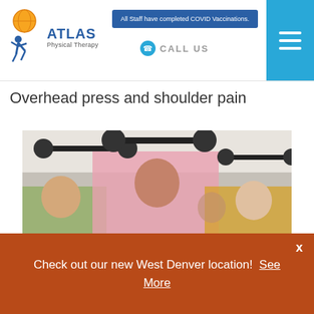Atlas Physical Therapy — All Staff have completed COVID Vaccinations. CALL US
Overhead press and shoulder pain
[Figure (photo): Group of people performing overhead barbell press exercise in a gym setting]
The holidays and new year are approaching and people increase their activity level to try and keep the pounds off. One of the most
Check out our new West Denver location! See More